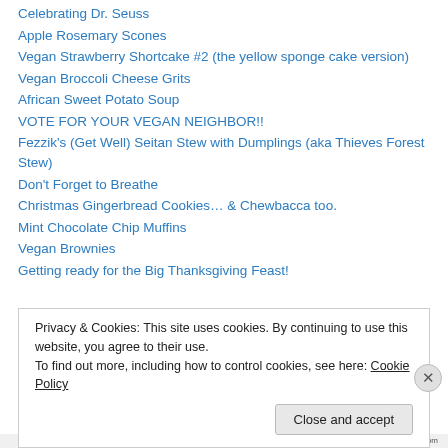Celebrating Dr. Seuss
Apple Rosemary Scones
Vegan Strawberry Shortcake #2 (the yellow sponge cake version)
Vegan Broccoli Cheese Grits
African Sweet Potato Soup
VOTE FOR YOUR VEGAN NEIGHBOR!!
Fezzik's (Get Well) Seitan Stew with Dumplings (aka Thieves Forest Stew)
Don't Forget to Breathe
Christmas Gingerbread Cookies… & Chewbacca too.
Mint Chocolate Chip Muffins
Vegan Brownies
Getting ready for the Big Thanksgiving Feast!
Privacy & Cookies: This site uses cookies. By continuing to use this website, you agree to their use. To find out more, including how to control cookies, see here: Cookie Policy